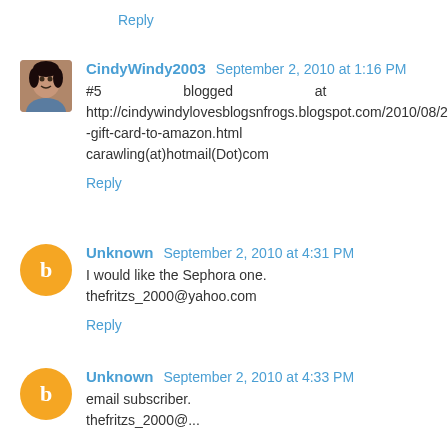Reply
CindyWindy2003 September 2, 2010 at 1:16 PM
#5 blogged at http://cindywindylovesblogsnfrogs.blogspot.com/2010/08/25-gift-card-to-amazon.html carawling(at)hotmail(Dot)com
Reply
Unknown September 2, 2010 at 4:31 PM
I would like the Sephora one. thefritzs_2000@yahoo.com
Reply
Unknown September 2, 2010 at 4:33 PM
email subscriber. thefritzs_2000@...